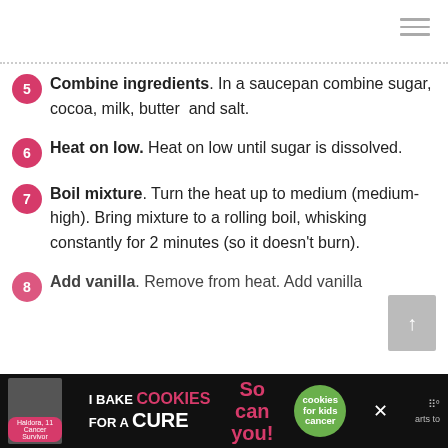5. Combine ingredients. In a saucepan combine sugar, cocoa, milk, butter and salt.
6. Heat on low. Heat on low until sugar is dissolved.
7. Boil mixture. Turn the heat up to medium (medium-high). Bring mixture to a rolling boil, whisking constantly for 2 minutes (so it doesn't burn).
8. Add vanilla. Remove from heat. Add vanilla...